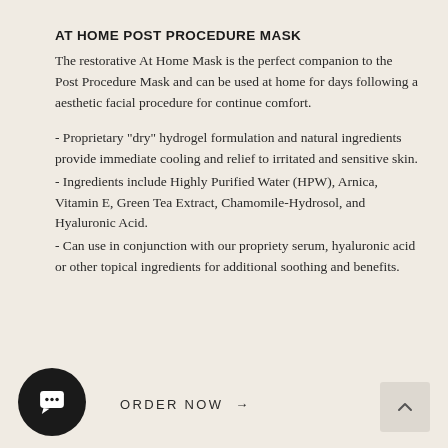AT HOME POST PROCEDURE MASK
The restorative At Home Mask is the perfect companion to the Post Procedure Mask and can be used at home for days following a aesthetic facial procedure for continue comfort.
- Proprietary "dry" hydrogel formulation and natural ingredients provide immediate cooling and relief to irritated and sensitive skin.
- Ingredients include Highly Purified Water (HPW), Arnica, Vitamin E, Green Tea Extract, Chamomile-Hydrosol, and Hyaluronic Acid.
- Can use in conjunction with our propriety serum, hyaluronic acid or other topical ingredients for additional soothing and benefits.
ORDER NOW →